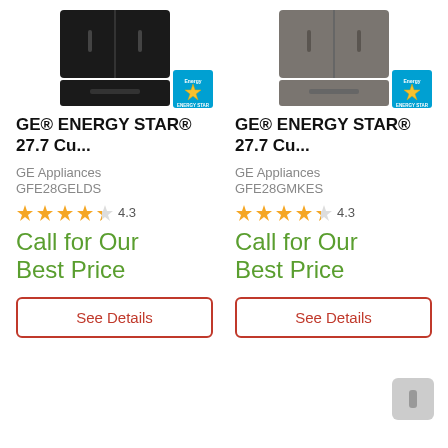[Figure (photo): Photo of GE black french door refrigerator with ENERGY STAR badge]
GE® ENERGY STAR® 27.7 Cu...
GE Appliances
GFE28GELDS
★★★★☆ 4.3
Call for Our Best Price
See Details
[Figure (photo): Photo of GE slate french door refrigerator with ENERGY STAR badge]
GE® ENERGY STAR® 27.7 Cu...
GE Appliances
GFE28GMKES
★★★★☆ 4.3
Call for Our Best Price
See Details